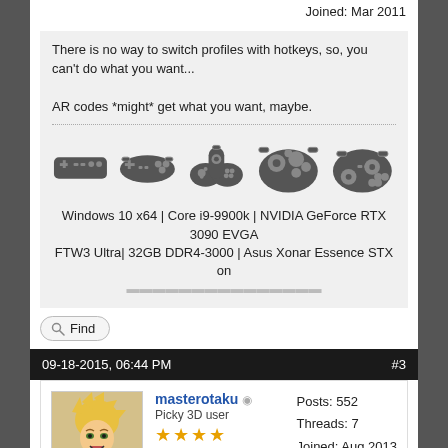Joined: Mar 2011
There is no way to switch profiles with hotkeys, so, you can't do what you want...

AR codes *might* get what you want, maybe.
[Figure (illustration): Five gaming controller icons: NES-style, SNES-style, N64-style, GameCube-style, and a modern controller]
Windows 10 x64 | Core i9-9900k | NVIDIA GeForce RTX 3090 EVGA FTW3 Ultra| 32GB DDR4-3000 | Asus Xonar Essence STX on ...
Find
09-18-2015, 06:44 PM   #3
masterotaku
Picky 3D user
★★★★
Posts: 552
Threads: 7
Joined: Aug 2013
This exact same question was answered in the Wind Waker thread. Someome made AR codes for this, but I don't remember if they apply only to the camera.